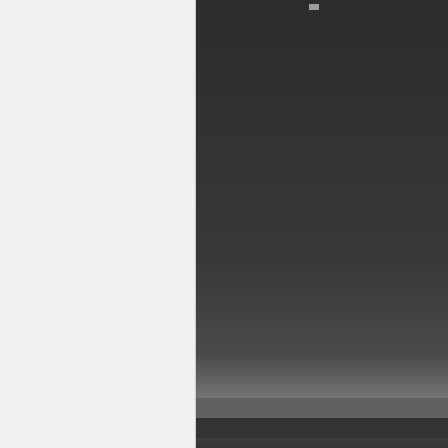[Figure (screenshot): Dark screenshot of a software interface, partially visible, with a horizontal gray bar near the bottom.]
Screen Shot 2019-01-30 at 4.20.47 PM.png (284.…
Hugh Smith
Hero Member
★ ★ ★ ★ ★
Posts: 1113
Re: Sibelius 8 and templates
« Reply #10 on: January 31, 2019, 03:1…
Quote from: mmaize on January 30, 2019, 07:13:…
I attached two screen shots. The one with Kontakt 5… was still added.
Is this comment for the first image? Nothing… should see it in the left sidebar.
Quote from: mmaize on January 30, 2019, 07:13:…
The second screen shot is in Sibelius. I added the V… guess it works now, unless you see something on m…